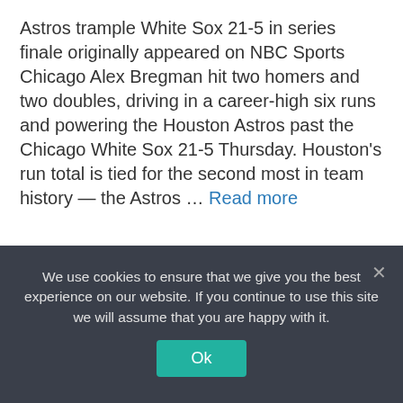Astros trample White Sox 21-5 in series finale originally appeared on NBC Sports Chicago Alex Bregman hit two homers and two doubles, driving in a career-high six runs and powering the Houston Astros past the Chicago White Sox 21-5 Thursday. Houston's run total is tied for the second most in team history — the Astros … Read more
Sports
Leave a comment
We use cookies to ensure that we give you the best experience on our website. If you continue to use this site we will assume that you are happy with it.